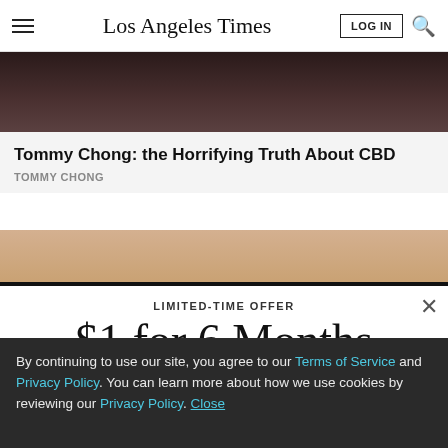Los Angeles Times
[Figure (photo): Dark-toned photo, appears to be a person in dark clothing, top portion only visible]
Tommy Chong: the Horrifying Truth About CBD
TOMMY CHONG
[Figure (photo): Close-up photo with warm tan/beige tones, partial view]
LIMITED-TIME OFFER
$1 for 6 Months
SUBSCRIBE NOW
By continuing to use our site, you agree to our Terms of Service and Privacy Policy. You can learn more about how we use cookies by reviewing our Privacy Policy. Close